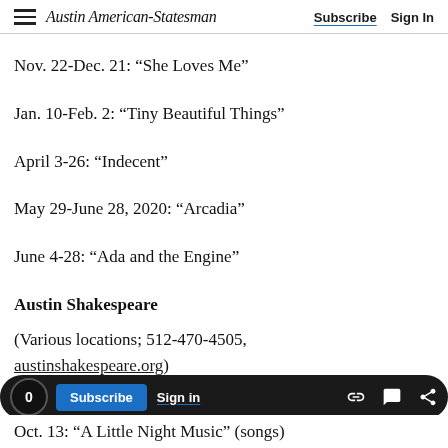Austin American-Statesman | Subscribe | Sign In
Nov. 22-Dec. 21: “She Loves Me”
Jan. 10-Feb. 2: “Tiny Beautiful Things”
April 3-26: “Indecent”
May 29-June 28, 2020: “Arcadia”
June 4-28: “Ada and the Engine”
Austin Shakespeare
(Various locations; 512-470-4505, austinshakespeare.org)
Oct. 13: “A Little Night Music” (songs)